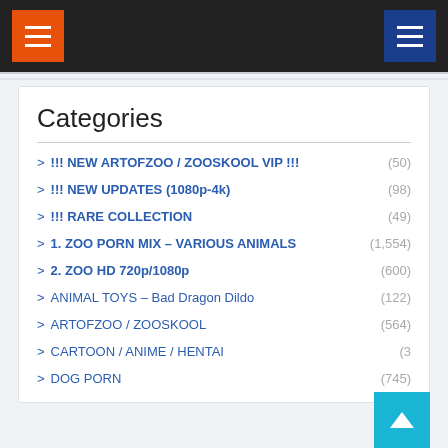Navigation header with hamburger menus
Categories
> !!! NEW ARTOFZOO / ZOOSKOOL VIP !!! (50)
> !!! NEW UPDATES (1080p-4k) (98)
> !!! RARE COLLECTION (49)
> 1. ZOO PORN MIX – VARIOUS ANIMALS (1,554)
> 2. ZOO HD 720p/1080p (600)
> ANIMAL TOYS – Bad Dragon Dildo (122)
> ARTOFZOO / ZOOSKOOL (564)
> CARTOON / ANIME / HENTAI (3...)
> DOG PORN (745)